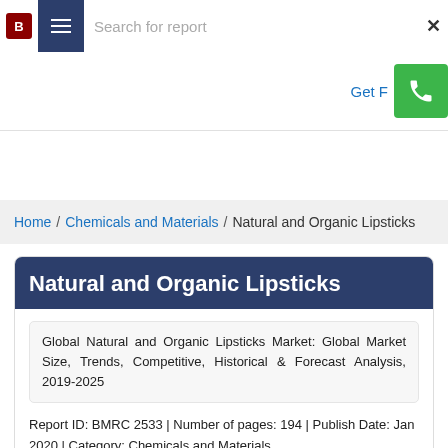Search for report
Get F[ree Sample]
Home / Chemicals and Materials / Natural and Organic Lipsticks
Natural and Organic Lipsticks
Global Natural and Organic Lipsticks Market: Global Market Size, Trends, Competitive, Historical & Forecast Analysis, 2019-2025
Report ID: BMRC 2533 | Number of pages: 194 | Publish Date: Jan 2020 | Category: Chemicals and Materials